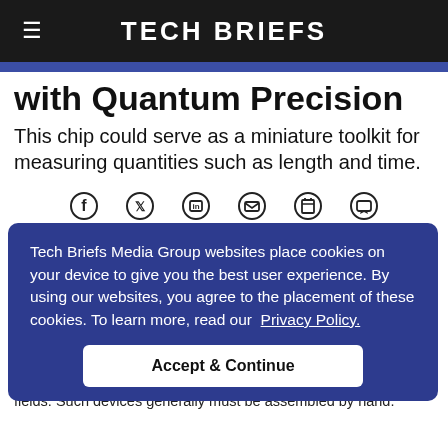TECH BRIEFS
with Quantum Precision
This chip could serve as a miniature toolkit for measuring quantities such as length and time.
[Figure (infographic): Social sharing icons row: Facebook, Twitter, LinkedIn, Email, Print, Comment]
Tech Briefs Media Group websites place cookies on your device to give you the best user experience. By using our websites, you agree to the placement of these cookies. To learn more, read our Privacy Policy.
...states of atoms in a ...ive to ...ms. Devices ...with atomic vapors can measure quantities such as time, length, magnetic fields, and have applications in navigation, communications, medicine, and other fields. Such devices generally must be assembled by hand...